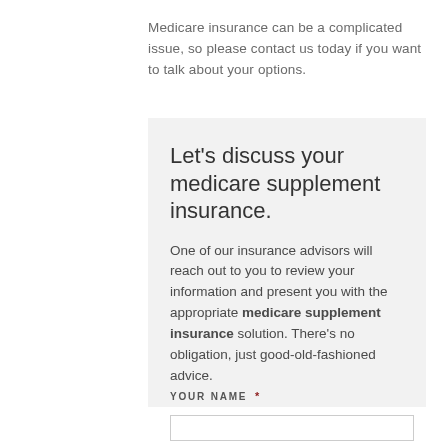Medicare insurance can be a complicated issue, so please contact us today if you want to talk about your options.
Let’s discuss your medicare supplement insurance.
One of our insurance advisors will reach out to you to review your information and present you with the appropriate medicare supplement insurance solution. There’s no obligation, just good-old-fashioned advice.
YOUR NAME *